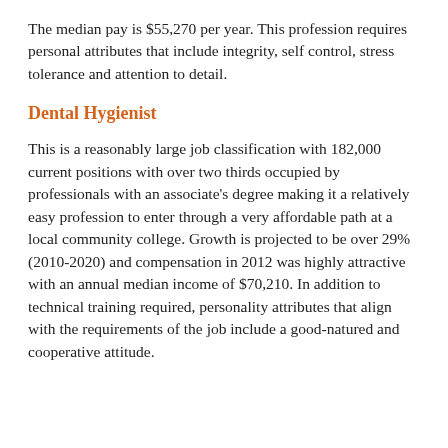The median pay is $55,270 per year. This profession requires personal attributes that include integrity, self control, stress tolerance and attention to detail.
Dental Hygienist
This is a reasonably large job classification with 182,000 current positions with over two thirds occupied by professionals with an associate's degree making it a relatively easy profession to enter through a very affordable path at a local community college. Growth is projected to be over 29% (2010-2020) and compensation in 2012 was highly attractive with an annual median income of $70,210. In addition to technical training required, personality attributes that align with the requirements of the job include a good-natured and cooperative attitude.